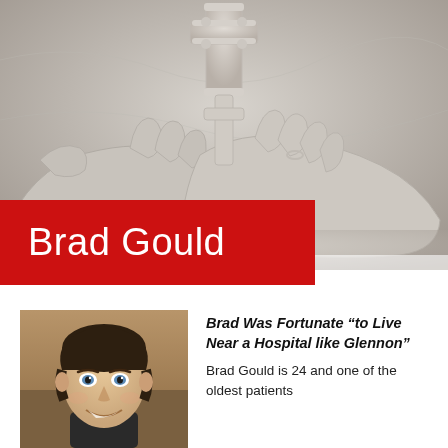[Figure (photo): Close-up photograph of hands holding a decorative cross, marble or stone sculpture style, grayscale tones]
Brad Gould
[Figure (photo): Portrait photo of a young man with dark hair and blue eyes, smiling, indoor setting]
Brad Was Fortunate “to Live Near a Hospital like Glennon”
Brad Gould is 24 and one of the oldest patients